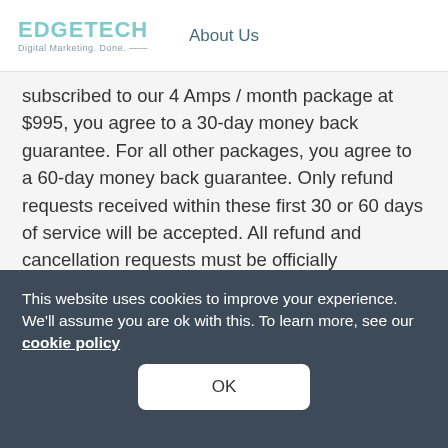EDGETECH Digital Marketing. Done. | About Us
subscribed to our 4 Amps / month package at $995, you agree to a 30-day money back guarantee. For all other packages, you agree to a 60-day money back guarantee. Only refund requests received within these first 30 or 60 days of service will be accepted. All refund and cancellation requests must be officially communicated to Ampifire via support@ampifire.com. All Ampifire product cancellation requests must be communicated at least 3 business days prior to their
This website uses cookies to improve your experience. We'll assume you are ok with this. To learn more, see our cookie policy
OK